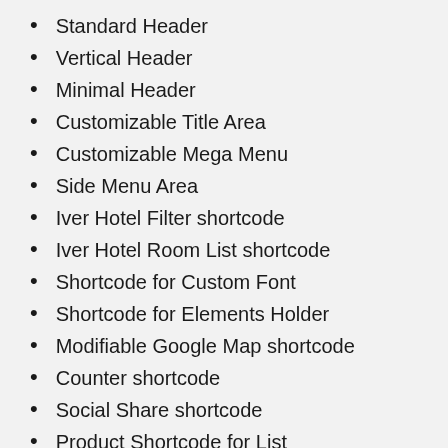Standard Header
Vertical Header
Minimal Header
Customizable Title Area
Customizable Mega Menu
Side Menu Area
Iver Hotel Filter shortcode
Iver Hotel Room List shortcode
Shortcode for Custom Font
Shortcode for Elements Holder
Modifiable Google Map shortcode
Counter shortcode
Social Share shortcode
Product Shortcode for List
Product List Carousel shortcode
Product List Simple Shortcode